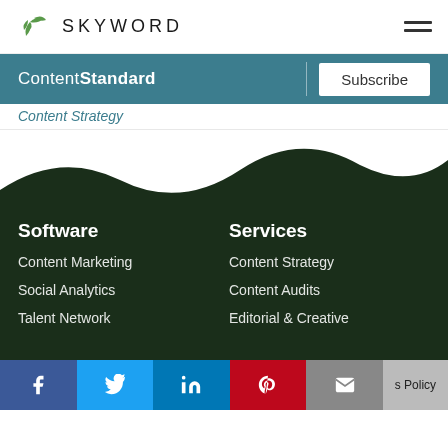SKYWORD
ContentStandard | Subscribe
Content Strategy
Software
Services
Content Marketing
Content Strategy
Social Analytics
Content Audits
Talent Network
Editorial & Creative
s Policy